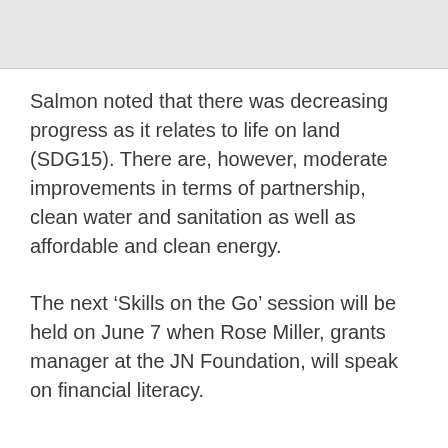[Figure (photo): Gray image/photo area at top of page]
Salmon noted that there was decreasing progress as it relates to life on land (SDG15). There are, however, moderate improvements in terms of partnership, clean water and sanitation as well as affordable and clean energy.
The next ‘Skills on the Go’ session will be held on June 7 when Rose Miller, grants manager at the JN Foundation, will speak on financial literacy.